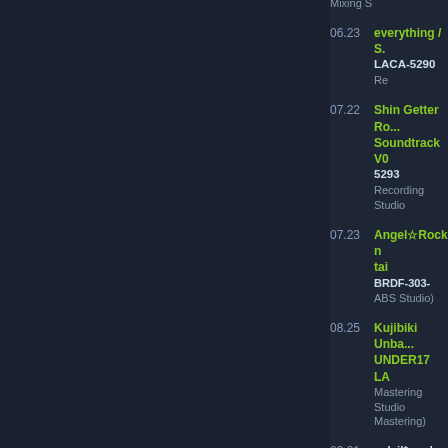LACM-4127 Studio, Mixing S...
06.23 everything / S... LACA-5290 Re...
07.22 Shin Getter Ro... Soundtrack V0... 5293 Recording... Studio
07.23 Angel☆Rock n tai BRDF-303-... ABS Studio)
08.25 Kujibiki Unba... UNDER17 LA... Mastering Studio... Mastering)
09.01 soleil*garden A... LACA-5257 M... Engineer
09.23 DearS TV ANI... ORIGINAL SC... LACA-5317 M... (as ABS MASTE...
10.06 Shin Getter Ro... Soundtrack V0... 5321 Recording... Studio
10.10 UNDER17 Dre...